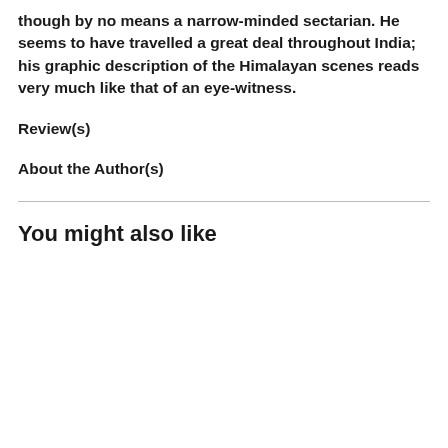though by no means a narrow-minded sectarian. He seems to have travelled a great deal throughout India; his graphic description of the Himalayan scenes reads very much like that of an eye-witness.
Review(s)
About the Author(s)
You might also like